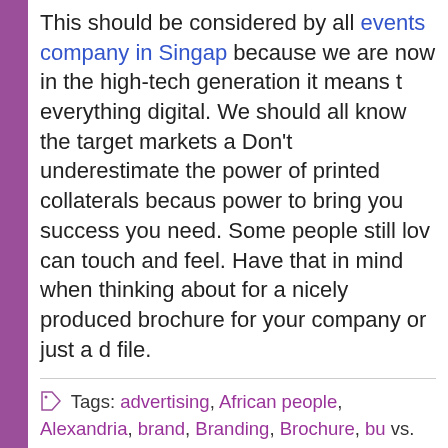This should be considered by all events company in Singapore because we are now in the high-tech generation it means everything digital. We should all know the target markets and Don't underestimate the power of printed collaterals because power to bring you success you need. Some people still love can touch and feel. Have that in mind when thinking about for a nicely produced brochure for your company or just a digital file.
Tags: advertising, African people, Alexandria, brand, Branding, Brochure, bu vs. Print Collaterals, Dr Letitia Wright, Dr wright, Google, graphic design, Letitia collaterals, modern technology, pdf, pdf-file, print, print collaterals, printing ser optimization, Singapore, target market, The Wright Place TV Show, WPTV, wri Show